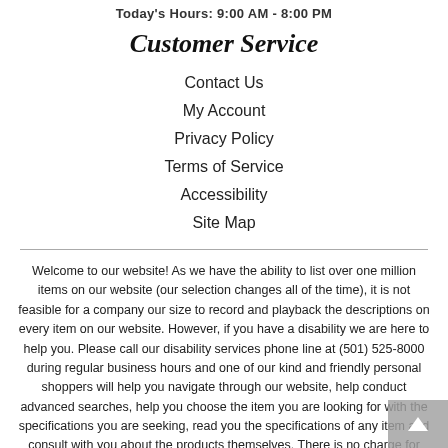Today's Hours: 9:00 AM - 8:00 PM
Customer Service
Contact Us
My Account
Privacy Policy
Terms of Service
Accessibility
Site Map
Welcome to our website! As we have the ability to list over one million items on our website (our selection changes all of the time), it is not feasible for a company our size to record and playback the descriptions on every item on our website. However, if you have a disability we are here to help you. Please call our disability services phone line at (501) 525-8000 during regular business hours and one of our kind and friendly personal shoppers will help you navigate through our website, help conduct advanced searches, help you choose the item you are looking for with the specifications you are seeking, read you the specifications of any item and consult with you about the products themselves. There is no charge for the help of this personal shopper for anyone with a disability. Finally, your personal shopper will explain our Privacy Policy and Terms of Service, and help you place an order if you so desire.